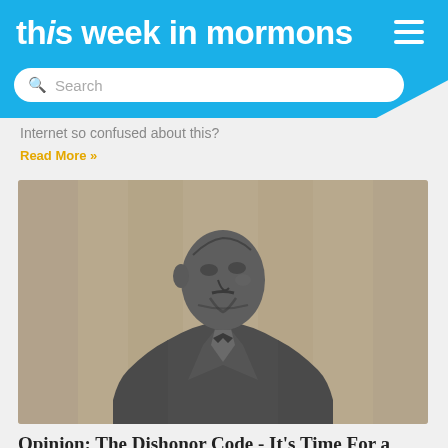this week in mormons
Internet so confused about this?
Read More »
[Figure (photo): Bronze or stone statue of a man in a suit with a bow tie, looking upward, photographed against a backdrop of classical columns]
Opinion: The Dishonor Code - It's Time For a Change